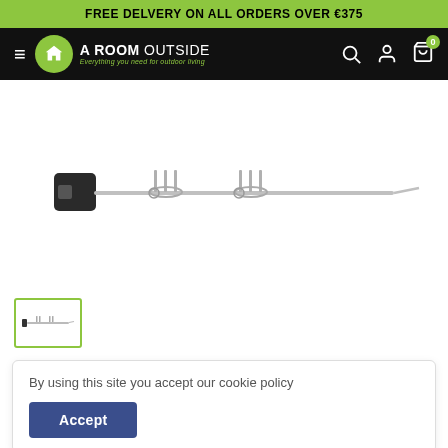FREE DELVERY ON ALL ORDERS OVER €375
[Figure (logo): A Room Outside logo with green circle, hamburger menu, search, account, and cart icons on black navigation bar]
[Figure (photo): A stainless steel rotisserie spit rod with motor attachment and two prong forks on a white background]
[Figure (photo): Thumbnail image of the rotisserie spit, selected with green border]
By using this site you accept our cookie policy
Accept
Series